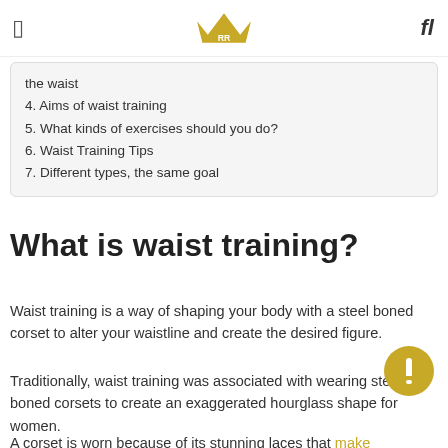[ crown logo ] fl
the waist
4. Aims of waist training
5. What kinds of exercises should you do?
6. Waist Training Tips
7. Different types, the same goal
What is waist training?
Waist training is a way of shaping your body with a steel boned corset to alter your waistline and create the desired figure.
Traditionally, waist training was associated with wearing steel-boned corsets to create an exaggerated hourglass shape for women.
A corset is worn because of its stunning laces that make